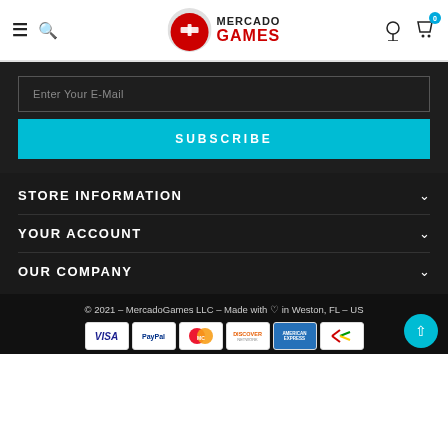[Figure (logo): Mercado Games logo with red circle containing game controller icon and text MERCADO GAMES]
Enter Your E-Mail
SUBSCRIBE
STORE INFORMATION
YOUR ACCOUNT
OUR COMPANY
© 2021 – MercadoGames LLC – Made with ♡ in Weston, FL – US
[Figure (other): Payment method logos: VISA, PayPal, MasterCard, Discover, American Express, and one more card]